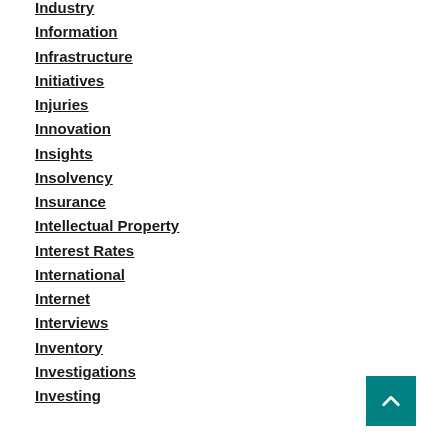Industry
Information
Infrastructure
Initiatives
Injuries
Innovation
Insights
Insolvency
Insurance
Intellectual Property
Interest Rates
International
Internet
Interviews
Inventory
Investigations
Investing